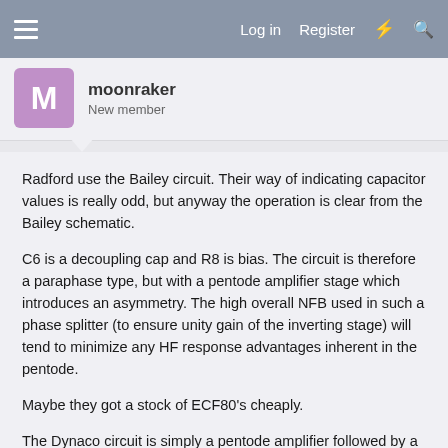Log in  Register
moonraker
New member
Radford use the Bailey circuit.  Their way of indicating capacitor values is really odd, but anyway the operation is clear from the Bailey schematic.
C6 is a decoupling cap and R8 is bias.  The circuit is therefore a paraphase type, but with a pentode amplifier stage which introduces an asymmetry.  The high overall NFB used in such a phase splitter (to ensure unity gain of the inverting stage) will tend to minimize any HF response advantages inherent in the pentode.
Maybe they got a stock of ECF80's cheaply.
The Dynaco circuit is simply a pentode amplifier followed by a